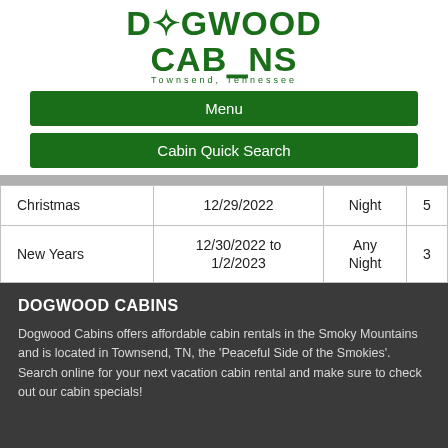[Figure (logo): Dogwood Cabins logo with green text and flower icon, subtitle 'Townsend, Tennessee']
Menu
Cabin Quick Search
| Christmas | 12/29/2022 | Night | 5 |
| New Years | 12/30/2022 to 1/2/2023 | Any Night | 3 |
DOGWOOD CABINS
Dogwood Cabins offers affordable cabin rentals in the Smoky Mountains and is located in Townsend, TN, the 'Peaceful Side of the Smokies'. Search online for your next vacation cabin rental and make sure to check out our cabin specials!